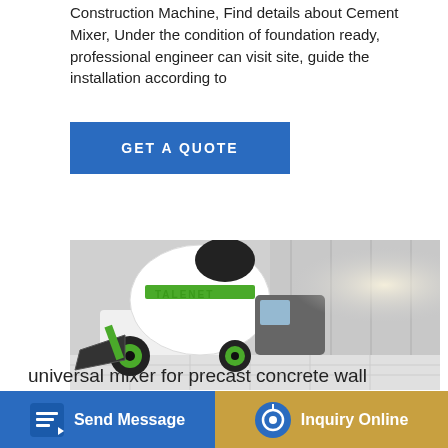Construction Machine, Find details about Cement Mixer, Under the condition of foundation ready, professional engineer can visit site, guide the installation according to
GET A QUOTE
[Figure (photo): Green and white self-loading concrete mixer truck (TALENET brand) with a large rotating drum and front loading bucket, photographed on a tiled surface with a modern building background.]
universal mixer for precast concrete wall
Send Message
Inquiry Online
JS750 stationary concrete mixer for concrete batching, JS750